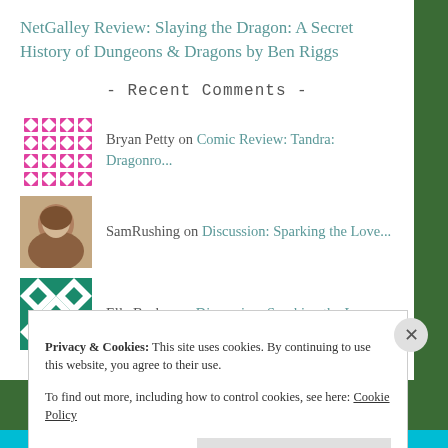NetGalley Review: Slaying the Dragon: A Secret History of Dungeons & Dragons by Ben Riggs
- Recent Comments -
Bryan Petty on Comic Review: Tandra: Dragonro...
SamRushing on Discussion: Sparking the Love...
Ella Becker on Discussion: Sparking the Love...
Privacy & Cookies: This site uses cookies. By continuing to use this website, you agree to their use. To find out more, including how to control cookies, see here: Cookie Policy
Close and accept